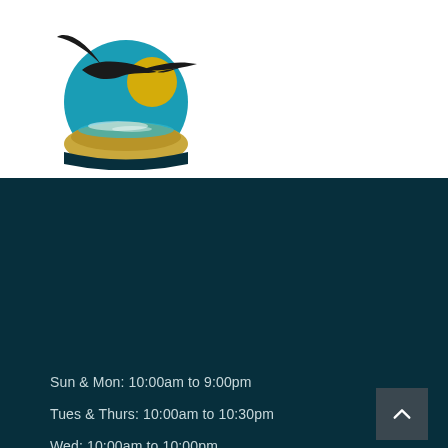[Figure (logo): Bird in flight over a circular landscape scene with teal sky, golden sun, and sandy shore]
Sun & Mon: 10:00am to 9:00pm
Tues & Thurs: 10:00am to 10:30pm
Wed: 10:00am to 10:00pm
Fri & Sat: 10:00am to Midnight
CONTACT US
Cnr Prince Edward Ave & West Crescent
Culburra Beach, NSW 2540